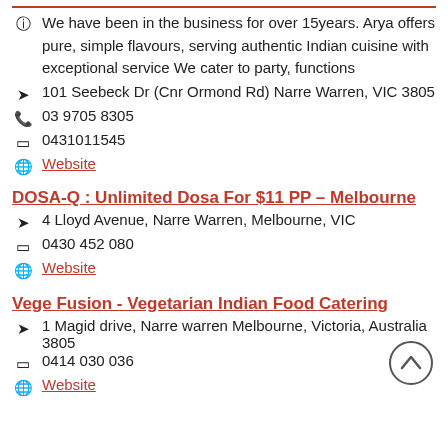We have been in the business for over 15years. Arya offers pure, simple flavours, serving authentic Indian cuisine with exceptional service We cater to party, functions
101 Seebeck Dr (Cnr Ormond Rd) Narre Warren, VIC 3805
03 9705 8305
0431011545
Website
DOSA-Q : Unlimited Dosa For $11 PP – Melbourne
4 Lloyd Avenue, Narre Warren, Melbourne, VIC
0430 452 080
Website
Vege Fusion - Vegetarian Indian Food Catering
1 Magid drive, Narre warren Melbourne, Victoria, Australia 3805
0414 030 036
Website